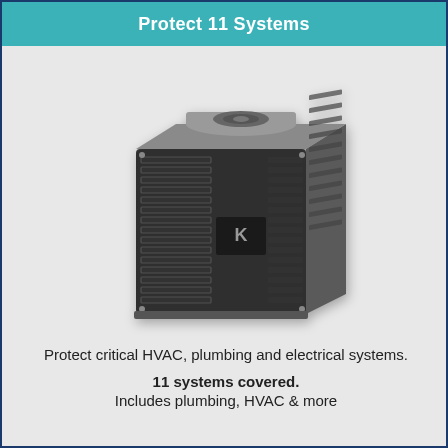Protect 11 Systems
[Figure (photo): HVAC outdoor air conditioning unit - a large square metal unit with grid ventilation panels on sides and top, Kenmore branded, gray/dark color]
Protect critical HVAC, plumbing and electrical systems.
11 systems covered.
Includes plumbing, HVAC & more